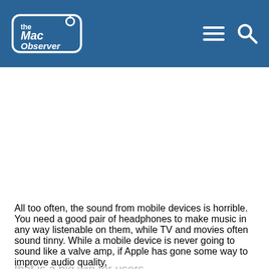The Mac Observer
[Figure (other): Advertisement/empty white space area below the header]
All too often, the sound from mobile devices is horrible. You need a good pair of headphones to make music in any way listenable on them, while TV and movies often sound tinny. While a mobile device is never going to sound like a valve amp, if Apple has gone some way to improve audio quality, that is a big win for users.